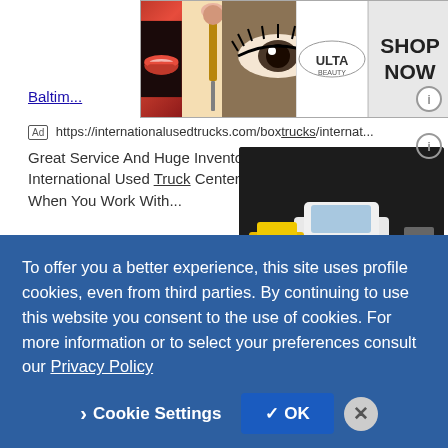[Figure (photo): Banner advertisement for Ulta beauty products showing makeup images including lips, brushes, eye makeup, the Ulta logo, and a 'SHOP NOW' call to action.]
Baltim...
[Ad] https://internationalusedtrucks.com/boxtrucks/internat...
Great Service And Huge Inventory Selection Available At International Used Truck Centers. Shopping Is Simple When You Work With...
[Figure (photo): International used trucks advertisement image showing white and yellow semi trucks on an orange/dark background.]
Medium Duty Inventory
Heavy-Duty Inventory
PreQualify For Financing
Contact Us
Used Isuzu NPR Box Trucks - Browse Our Online Inventory
[Ad] https://www.penskeusedtrucks.com/isuzu/npr-trucks
To offer you a better experience, this site uses profile cookies, even from third parties. By continuing to use this website you consent to the use of cookies. For more information or to select your preferences consult our Privacy Policy
Cookie Settings  ✓ OK